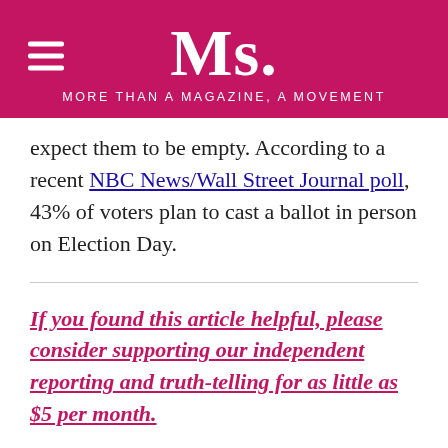Ms. — MORE THAN A MAGAZINE, A MOVEMENT
expect them to be empty. According to a recent NBC News/Wall Street Journal poll, 43% of voters plan to cast a ballot in person on Election Day.
If you found this article helpful, please consider supporting our independent reporting and truth-telling for as little as $5 per month.